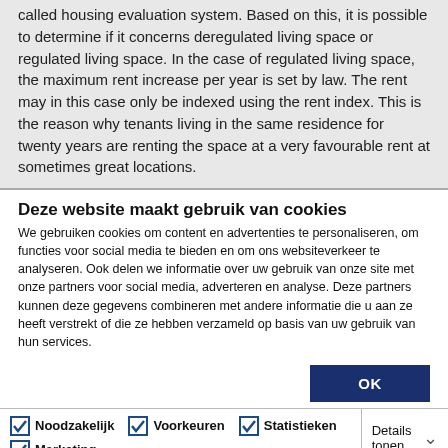called housing evaluation system. Based on this, it is possible to determine if it concerns deregulated living space or regulated living space. In the case of regulated living space, the maximum rent increase per year is set by law. The rent may in this case only be indexed using the rent index. This is the reason why tenants living in the same residence for twenty years are renting the space at a very favourable rent at sometimes great locations.
Deze website maakt gebruik van cookies
We gebruiken cookies om content en advertenties te personaliseren, om functies voor social media te bieden en om ons websiteverkeer te analyseren. Ook delen we informatie over uw gebruik van onze site met onze partners voor social media, adverteren en analyse. Deze partners kunnen deze gegevens combineren met andere informatie die u aan ze heeft verstrekt of die ze hebben verzameld op basis van uw gebruik van hun services.
OK
Noodzakelijk
Voorkeuren
Statistieken
Marketing
Details tonen